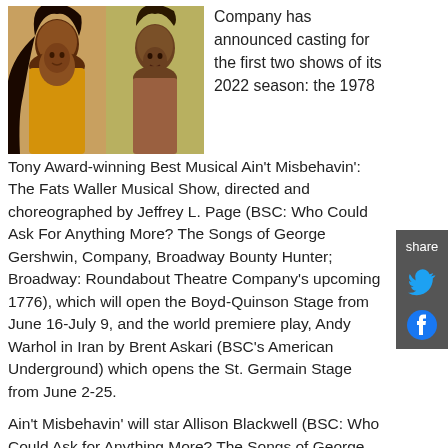[Figure (photo): Two headshot photos side by side: a woman on the left wearing yellow, and a man on the right against a yellow-green background.]
Company has announced casting for the first two shows of its 2022 season: the 1978 Tony Award-winning Best Musical Ain't Misbehavin': The Fats Waller Musical Show, directed and choreographed by Jeffrey L. Page (BSC: Who Could Ask For Anything More? The Songs of George Gershwin, Company, Broadway Bounty Hunter; Broadway: Roundabout Theatre Company's upcoming 1776), which will open the Boyd-Quinson Stage from June 16-July 9, and the world premiere play, Andy Warhol in Iran by Brent Askari (BSC's American Underground) which opens the St. Germain Stage from June 2-25.
Ain't Misbehavin' will star Allison Blackwell (BSC: Who Could Ask for Anything More? The Songs of George Gershwin, Ragtime; Broadway: The